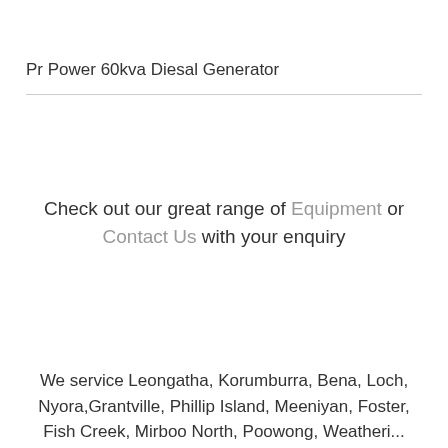Pr Power 60kva Diesal Generator
Check out our great range of Equipment or Contact Us with your enquiry
We service Leongatha, Korumburra, Bena, Loch, Nyora,Grantville, Phillip Island, Meeniyan, Foster, Fish Creek, Mirboo North, Poowong, Weathe...